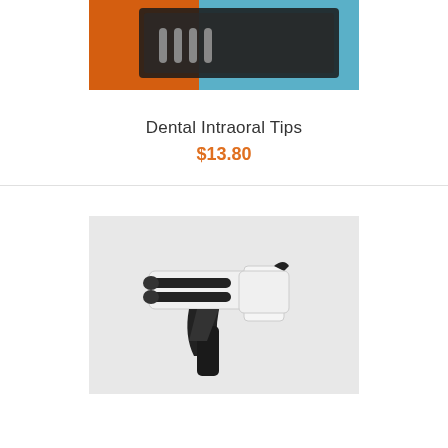[Figure (photo): Close-up photo of dental intraoral tips in a case with orange and black elements against a teal/blue background]
Dental Intraoral Tips
$13.80
[Figure (photo): Photo of a white and black dental impression gun/dispenser on a light gray background]